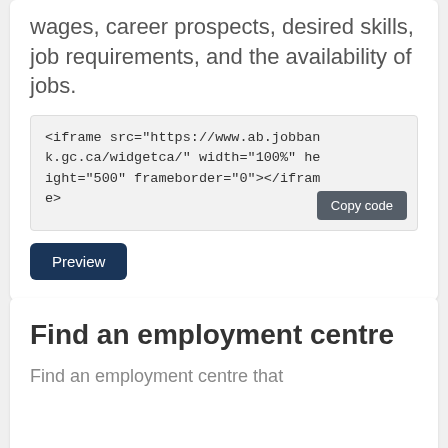wages, career prospects, desired skills, job requirements, and the availability of jobs.
<iframe src="https://www.ab.jobbank.gc.ca/widgetca/" width="100%" height="500" frameborder="0"></iframe>
Copy code
Preview
Find an employment centre
Find an employment centre that